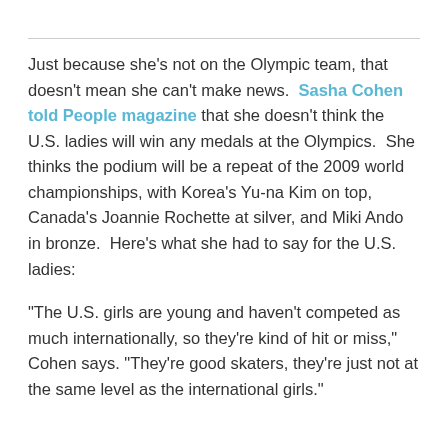Just because she's not on the Olympic team, that doesn't mean she can't make news. Sasha Cohen told People magazine that she doesn't think the U.S. ladies will win any medals at the Olympics. She thinks the podium will be a repeat of the 2009 world championships, with Korea's Yu-na Kim on top, Canada's Joannie Rochette at silver, and Miki Ando in bronze. Here's what she had to say for the U.S. ladies:
"The U.S. girls are young and haven't competed as much internationally, so they're kind of hit or miss," Cohen says. "They're good skaters, they're just not at the same level as the international girls."